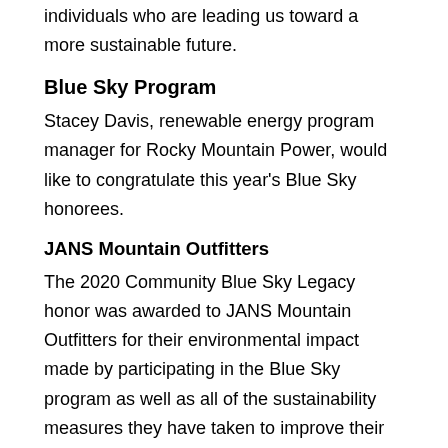individuals who are leading us toward a more sustainable future.
Blue Sky Program
Stacey Davis, renewable energy program manager for Rocky Mountain Power, would like to congratulate this year's Blue Sky honorees.
JANS Mountain Outfitters
The 2020 Community Blue Sky Legacy honor was awarded to JANS Mountain Outfitters for their environmental impact made by participating in the Blue Sky program as well as all of the sustainability measures they have taken to improve their community. Not only do they support renewable energy, but they also have a